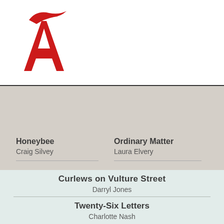[Figure (logo): Allen & Unwin publisher logo — red stylized letter A with decorative swash above, in red]
Honeybee
Craig Silvey
Ordinary Matter
Laura Elvery
BESTSELLING BOOKS
Curlews on Vulture Street
Darryl Jones
Twenty-Six Letters
Charlotte Nash